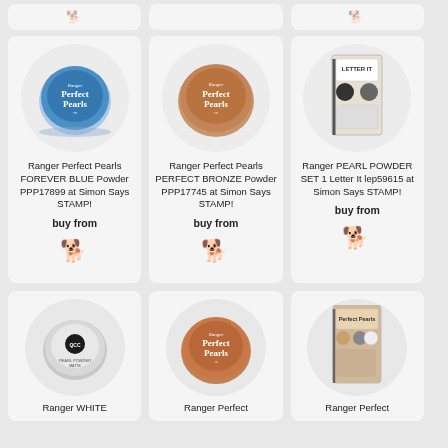[Figure (photo): Partial top cards showing deer/animal icons]
[Figure (photo): Ranger Perfect Pearls FOREVER BLUE Powder PPP17899 product image - blue circular tin]
Ranger Perfect Pearls FOREVER BLUE Powder PPP17899 at Simon Says STAMP!
buy from
[Figure (logo): Simon Says Stamp dog logo]
[Figure (photo): Ranger Perfect Pearls PERFECT BRONZE Powder PPP17745 product image - bronze circular tin]
Ranger Perfect Pearls PERFECT BRONZE Powder PPP17745 at Simon Says STAMP!
buy from
[Figure (logo): Simon Says Stamp dog logo]
[Figure (photo): Ranger PEARL POWDER SET 1 Letter It lep59615 product image]
Ranger PEARL POWDER SET 1 Letter It lep59615 at Simon Says STAMP!
buy from
[Figure (logo): Simon Says Stamp dog logo]
[Figure (photo): Ranger WHITE pearl powder product image - white circular tin]
Ranger WHITE
[Figure (photo): Ranger Perfect Pearls product image - copper/bronze circular tin]
Ranger Perfect
[Figure (photo): Ranger Perfect Pearls product set image]
Ranger Perfect